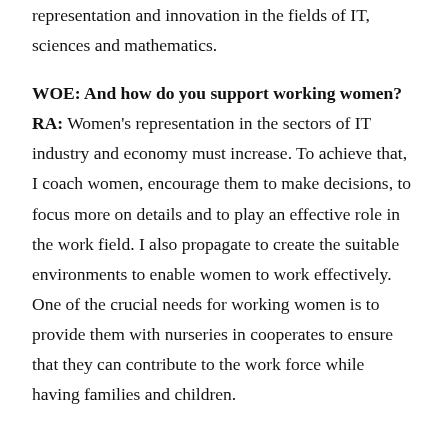representation and innovation in the fields of IT, sciences and mathematics.
WOE: And how do you support working women? RA: Women's representation in the sectors of IT industry and economy must increase. To achieve that, I coach women, encourage them to make decisions, to focus more on details and to play an effective role in the work field. I also propagate to create the suitable environments to enable women to work effectively. One of the crucial needs for working women is to provide them with nurseries in cooperates to ensure that they can contribute to the work force while having families and children.